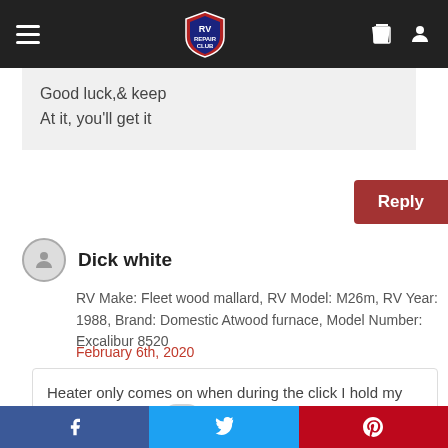RV Repair Club (navigation bar)
Good luck,& keep
At it, you'll get it
Reply
Dick white
RV Make: Fleet wood mallard, RV Model: M26m, RV Year: 1988, Brand: Domestic Atwood furnace, Model Number: Excalibur 8520
February 6th, 2020
Heater only comes on when during the click I hold my hand to the exha Usually after the %2nd or 3rd clic.
f  (Twitter bird)  p  — social share bar